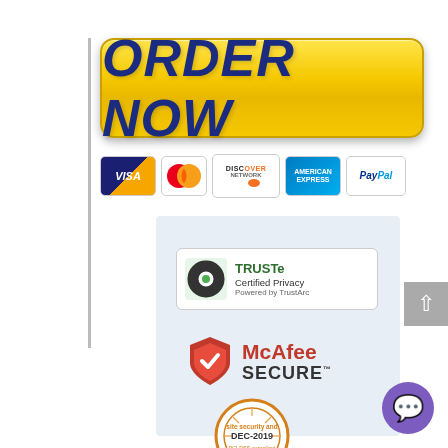[Figure (illustration): ORDER NOW button in yellow/gold gradient with bold dark blue italic text]
[Figure (illustration): Payment method logos: VISA, Mastercard, Discover, American Express, PayPal]
[Figure (logo): TRUSTe Certified Privacy badge - Powered by TrustArc]
[Figure (logo): McAfee SECURE badge with red shield logo]
[Figure (logo): PCI DSS compliant badge - DEC-2019, site security seal]